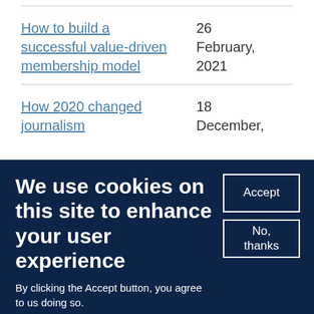How to build a successful value-driven membership model | 26 February, 2021
How 2020 changed journalism | 18 December,
We use cookies on this site to enhance your user experience
By clicking the Accept button, you agree to us doing so.
More info